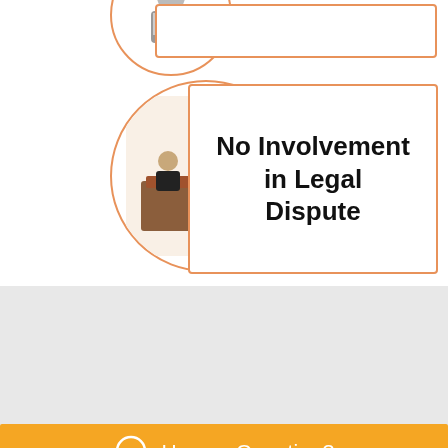[Figure (infographic): Partial infographic item at top showing a partially visible circle with a figure in suit and an orange-bordered rectangle]
[Figure (infographic): Infographic item with circular illustration of courtroom/judges panel connected by orange lines to a white rectangle with bold text 'No Involvement in Legal Dispute']
No Involvement in Legal Dispute
[Figure (logo): Rabbit mascot logo - cartoon rabbit with bow tie holding a wand]
[Figure (infographic): Social media icons: Facebook (f), Instagram (camera), and email (envelope)]
Have a Question?